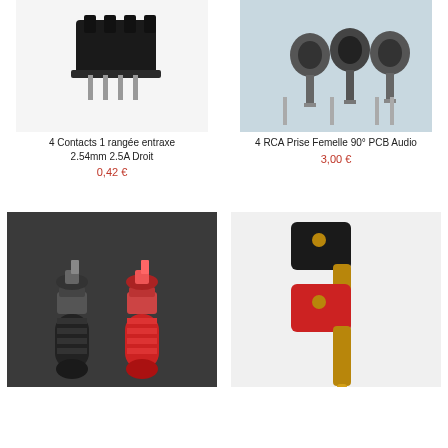[Figure (photo): Electronic connector - 4 Contacts 1 rangée entraxe 2.54mm 2.5A Droit, black connector component]
4 Contacts 1 rangée entraxe 2.54mm 2.5A Droit
0,42 €
[Figure (photo): 4 RCA Prise Femelle 90° PCB Audio - multiple RCA female connectors on PCB]
4 RCA Prise Femelle 90° PCB Audio
3,00 €
[Figure (photo): Banana socket connectors - black and red binding posts]
[Figure (photo): Dual banana plug connector - black and red with gold pins]